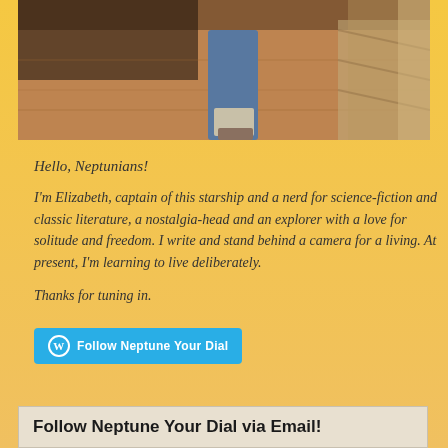[Figure (photo): Partial photo showing legs in jeans with socks/boots standing on a patterned carpet, with a dark sofa or furniture visible at the top left and a striped rug on the right side.]
Hello, Neptunians!
I'm Elizabeth, captain of this starship and a nerd for science-fiction and classic literature, a nostalgia-head and an explorer with a love for solitude and freedom. I write and stand behind a camera for a living. At present, I'm learning to live deliberately.
Thanks for tuning in.
Follow Neptune Your Dial
Follow Neptune Your Dial via Email!